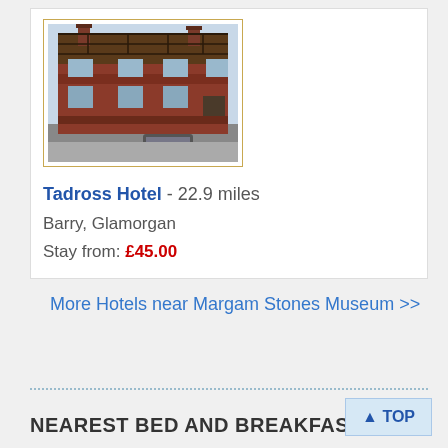[Figure (photo): Photo of Tadross Hotel building, a red-brick Victorian style building with dark timber framing on upper floors, set against a light sky]
Tadross Hotel - 22.9 miles
Barry, Glamorgan
Stay from: £45.00
More Hotels near Margam Stones Museum >>
NEAREST BED AND BREAKFASTS
[Figure (photo): Partial photo visible at bottom of page, appears to show a building with blue sky]